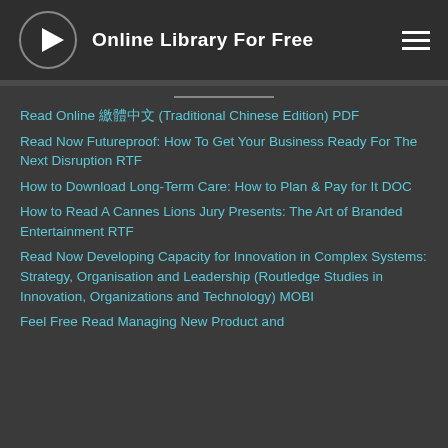Online Library For Free
Read Online 繁體中文 (Traditional Chinese Edition) PDF
Read Now Futureproof: How To Get Your Business Ready For The Next Disruption RTF
How to Download Long-Term Care: How to Plan & Pay for It DOC
How to Read A Cannes Lions Jury Presents: The Art of Branded Entertainment RTF
Read Now Developing Capacity for Innovation in Complex Systems: Strategy, Organisation and Leadership (Routledge Studies in Innovation, Organizations and Technology) MOBI
Feel Free Read Managing New Product and